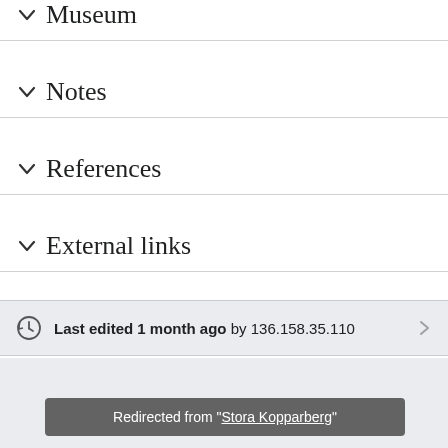Museum
Notes
References
External links
Last edited 1 month ago by 136.158.35.110
Redirected from "Stora Kopparberg"